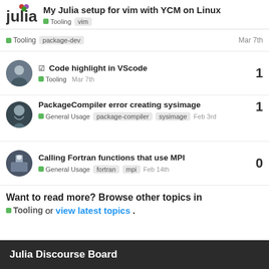My Julia setup for vim with YCM on Linux — Tooling vim
Tooling · package-dev · Mar 7th
✓ Code highlight in VScode — Tooling — Mar 7th — 1 reply
PackageCompiler error creating sysimage — General Usage · package-compiler · sysimage — Feb 3rd — 1 reply
Calling Fortran functions that use MPI — General Usage · fortran · mpi — Feb 14th — 0 replies
Want to read more? Browse other topics in Tooling or view latest topics.
Julia Discourse Board